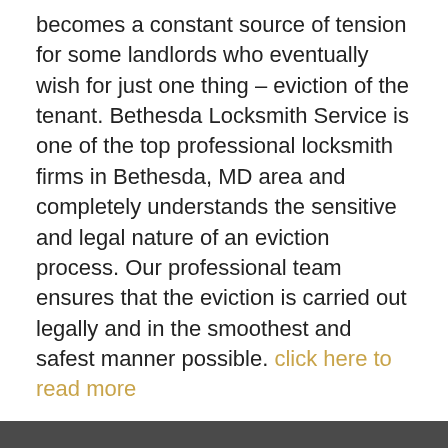becomes a constant source of tension for some landlords who eventually wish for just one thing – eviction of the tenant. Bethesda Locksmith Service is one of the top professional locksmith firms in Bethesda, MD area and completely understands the sensitive and legal nature of an eviction process. Our professional team ensures that the eviction is carried out legally and in the smoothest and safest manner possible. click here to read more
Our Company Goal!
[Figure (other): Broken image placeholder with alt text: Bethesda Locksmith Service Bethesda, MD 301-810-4519]
[Figure (other): White rectangle bar area (image placeholder)]
Click Here To View Our Offers
[Figure (other): Broken image placeholder with alt text: Bethesda Locksmith Service Bethesda, 301-810-4519]